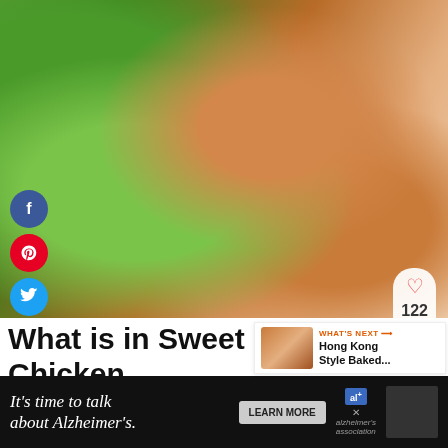[Figure (photo): Close-up photo of Sweet Chili Chicken Wonton Tacos topped with colorful toppings including purple cabbage, fresh herbs, orange-colored chicken pieces, arranged on a white fluffy surface with green parsley garnish]
What is in Sweet Chili Chicken Wonton Tacos?
[Figure (infographic): WHAT'S NEXT panel showing Hong Kong Style Baked... with thumbnail image]
[Figure (infographic): Advertisement banner: It's time to talk about Alzheimer's. LEARN MORE - Alzheimer's association]